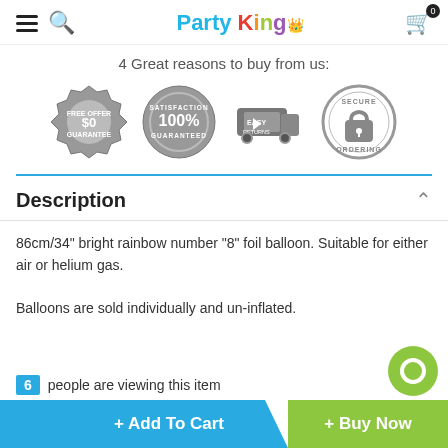Party King — header with hamburger menu, search icon, logo, and cart (0)
4 Great reasons to buy from us:
[Figure (infographic): Four trust badges: $0 Free Offer Guarantee, 100% Satisfaction Guaranteed, Easy Returns (truck icon), Secure Ordering (padlock icon)]
Description
86cm/34" bright rainbow number "8" foil balloon. Suitable for either air or helium gas.

Balloons are sold individually and un-inflated.
6 people are viewing this item
+ Add To Cart
+ Buy Now